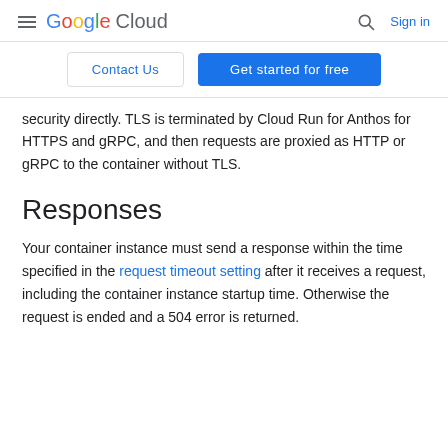Google Cloud  Sign in
Contact Us  Get started for free
security directly. TLS is terminated by Cloud Run for Anthos for HTTPS and gRPC, and then requests are proxied as HTTP or gRPC to the container without TLS.
Responses
Your container instance must send a response within the time specified in the request timeout setting after it receives a request, including the container instance startup time. Otherwise the request is ended and a 504 error is returned.